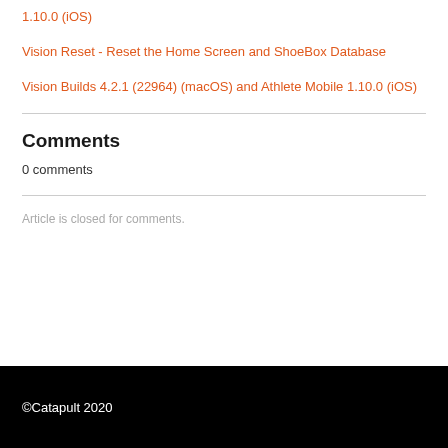1.10.0 (iOS)
Vision Reset - Reset the Home Screen and ShoeBox Database
Vision Builds 4.2.1 (22964) (macOS) and Athlete Mobile 1.10.0 (iOS)
Comments
0 comments
Article is closed for comments.
©Catapult 2020